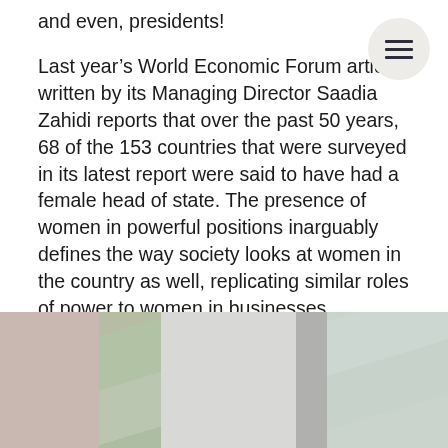and even, presidents!
Last year's World Economic Forum article written by its Managing Director Saadia Zahidi reports that over the past 50 years, 68 of the 153 countries that were surveyed in its latest report were said to have had a female head of state. The presence of women in powerful positions inarguably defines the way society looks at women in the country as well, replicating similar roles of power to women in businesses, healthcare, education and even families, where the patriarchy still holds root.
[Figure (photo): Photo of a room interior with curtains and windows, partially visible at the bottom of the page]